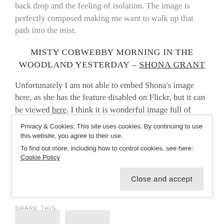back drop and the feeling of isolation. The image is perfectly composed making me want to walk up that path into the mist.
MISTY COBWEBBY MORNING IN THE WOODLAND YESTERDAY – SHONA GRANT
Unfortunately I am not able to embed Shona's image here, as she has the feature disabled on Flickr, but it can be viewed here. I think it is wonderful image full of interest and nice features. The mist works wonders to soften the background and make the shapes of the trees stand out. I know Shona shares my love of trees and that really shows here.
Privacy & Cookies: This site uses cookies. By continuing to use this website, you agree to their use.
To find out more, including how to control cookies, see here: Cookie Policy
Close and accept
SHARE THIS